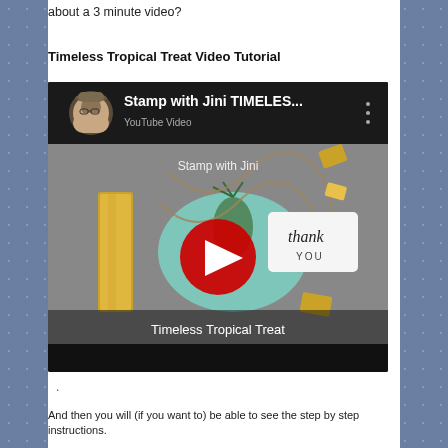about a 3 minute video?
Timeless Tropical Treat Video Tutorial
[Figure (screenshot): YouTube video thumbnail showing 'Stamp with Jini TIMELES...' with a crafted tropical treat gift featuring gold foil, a teal tag with pineapple stamp, twine, and a 'thank you' tag. Red YouTube play button in center. Text overlay: 'Stamp with Jini' and 'Timeless Tropical Treat'.]
.
And then you will (if you want to) be able to see the step by step instructions.